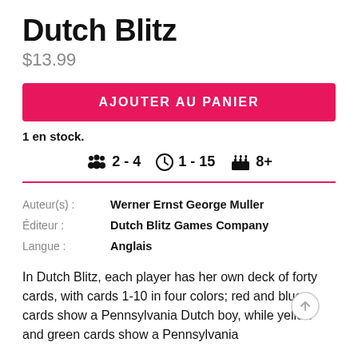Dutch Blitz
$13.99
AJOUTER AU PANIER
1 en stock.
[Figure (infographic): Game info bar with icons: players 2-4, time 1-15 minutes, age 8+]
| Auteur(s) : | Werner Ernst George Muller |
| Éditeur : | Dutch Blitz Games Company |
| Langue : | Anglais |
In Dutch Blitz, each player has her own deck of forty cards, with cards 1-10 in four colors; red and blue cards show a Pennsylvania Dutch boy, while yellow and green cards show a Pennsylvania